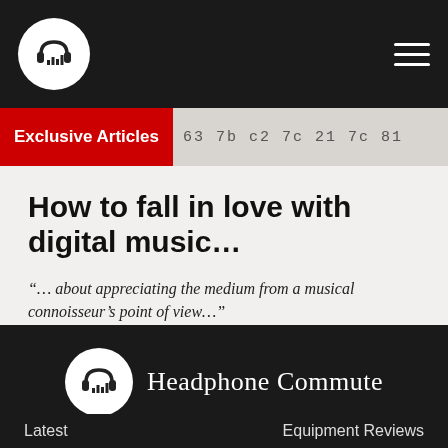[Figure (logo): Headphone Commute logo: white circle with headphones and bar chart icon on dark navbar]
Exclusive Articles
How to fall in love with digital music…
“… about appreciating the medium from a musical connoisseur’s point of view…”
[Figure (logo): Headphone Commute footer logo with brand name text]
Latest    Equipment Reviews